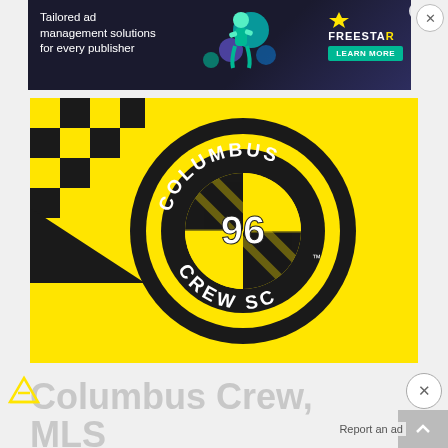[Figure (infographic): Advertisement banner: dark background with text 'Tailored ad management solutions for every publisher', animated illustration figure, Freestar logo in top-right with 'LEARN MORE' green button, close X button]
[Figure (logo): Columbus Crew SC official crest/logo on bright yellow background. Black circular badge with 'COLUMBUS' at top, 'CREW SC' at bottom, '96' in center, checkered flag pattern inside. Top-left corner has black and yellow checkerboard pattern.]
Columbus Crew, MLS Preparing for Move to Austin